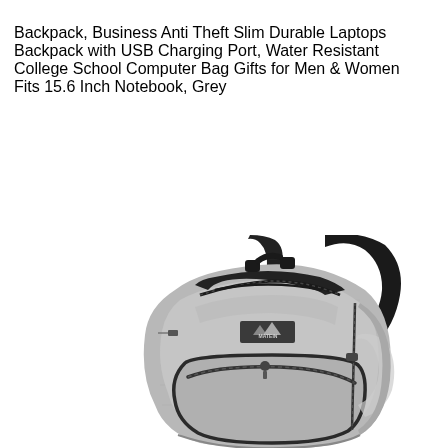Backpack, Business Anti Theft Slim Durable Laptops Backpack with USB Charging Port, Water Resistant College School Computer Bag Gifts for Men & Women Fits 15.6 Inch Notebook, Grey
[Figure (photo): A grey laptop backpack with black zippers and trim, black shoulder straps, multiple compartments, and a small logo patch reading MATEIN on the front. The bag is photographed at a slight angle showing the front and side.]